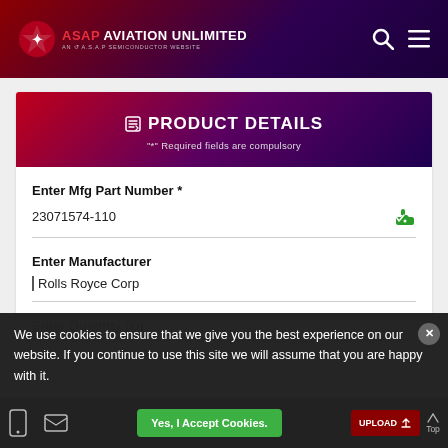ASAP AVIATION UNLIMITED — AN A.S.A.P SEMICONDUCTOR WEBSITE
PRODUCT DETAILS — "*" Required fields are compulsory
Enter Mfg Part Number *
23071574-110
Enter Manufacturer
Rolls Royce Corp
We use cookies to ensure that we give you the best experience on our website. If you continue to use this site we will assume that you are happy with it.
Yes, I Accept Cookies.
UPLOAD
Top